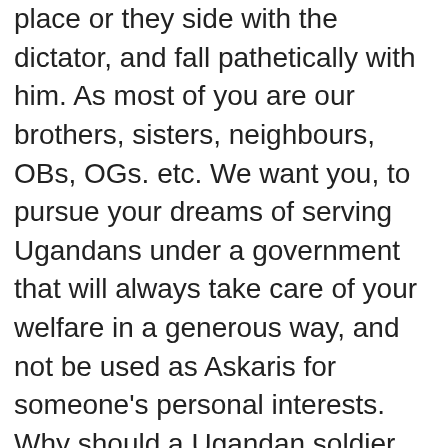place or they side with the dictator, and fall pathetically with him. As most of you are our brothers, sisters, neighbours, OBs, OGs. etc. We want you, to pursue your dreams of serving Ugandans under a government that will always take care of your welfare in a generous way, and not be used as Askaris for someone's personal interests. Why should a Ugandan soldier drink only crude waragi and not beer…?? Why should a Ugandan Soldier be among the five badly paid military forces in the world…? Why should a Soldier be begging cigarettes and Crude waragi money from wanainchi, while a mere cadre that has been around for less than a year, can buy creates of Beer and roast chicken everyday?….The Military, Police, Prisons, etc. service Men and Women, we know the Kayasi killing you. Its time you joined the populace and saved Uganda from Dictator Yoweri Museveni,